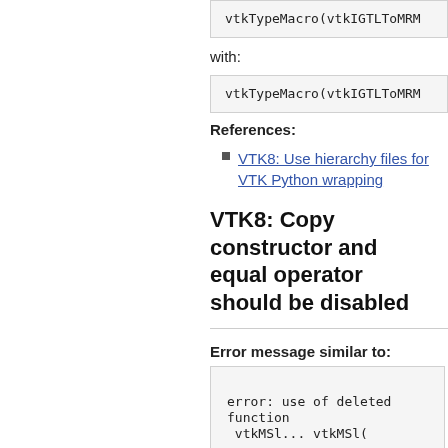vtkTypeMacro(vtkIGTLToMRML
with:
vtkTypeMacro(vtkIGTLToMRML
References:
VTK8: Use hierarchy files for VTK Python wrapping
VTK8: Copy constructor and equal operator should be disabled
Error message similar to:
error: use of deleted function
 vtkMSl... vtkMSl(